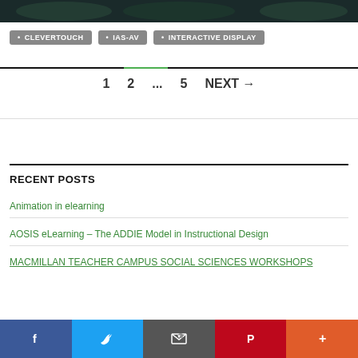[Figure (photo): Dark banner image at top of page]
CLEVERTOUCH
IAS-AV
INTERACTIVE DISPLAY
1  2  ...  5  NEXT →
RECENT POSTS
Animation in elearning
AOSIS eLearning – The ADDIE Model in Instructional Design
MACMILLAN TEACHER CAMPUS SOCIAL SCIENCES WORKSHOPS
[Figure (infographic): Social share bar at bottom: Facebook, Twitter, Email, Pinterest, More]